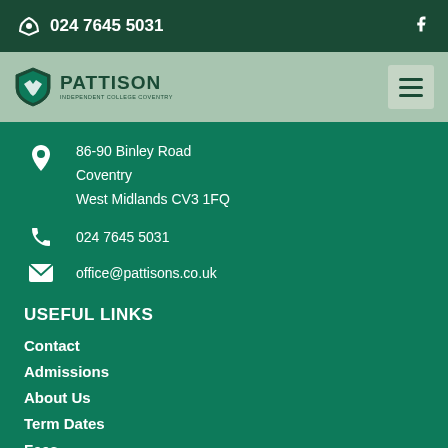024 7645 5031
[Figure (logo): Pattison school logo with shield emblem and text PATTISON]
86-90 Binley Road
Coventry
West Midlands CV3 1FQ
024 7645 5031
office@pattisons.co.uk
USEFUL LINKS
Contact
Admissions
About Us
Term Dates
Fees